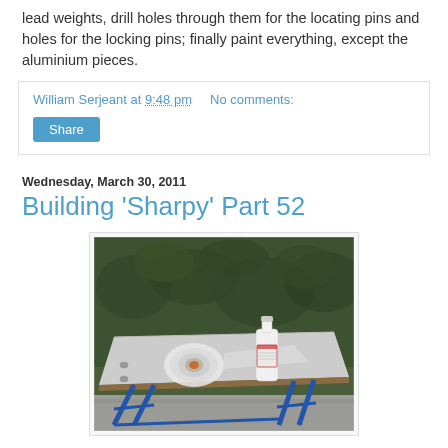lead weights, drill holes through them for the locating pins and holes for the locking pins; finally paint everything, except the aluminium pieces.
William Serjeant at 9:48 pm   No comments:
Share
Wednesday, March 30, 2011
Building 'Sharpy' Part 52
[Figure (photo): A photo of a workbench outdoors with a roll of clear plastic wrap and a white bottle on a flat surface (possibly a metal or wooden board), with a blue metal trestle stand visible below, and a green hedge in the background.]